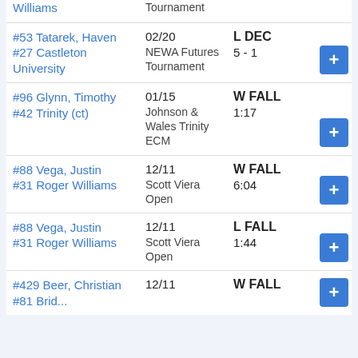| Opponent | Date/Event | Result | Action |
| --- | --- | --- | --- |
| #53 Tatarek, Haven / #27 Castleton University | 02/20
NEWA Futures Tournament | L DEC
5 - 1 | + |
| #96 Glynn, Timothy / #42 Trinity (ct) | 01/15
Johnson & Wales Trinity ECM | W FALL
1:17 | + |
| #88 Vega, Justin / #31 Roger Williams | 12/11
Scott Viera Open | W FALL
6:04 | + |
| #88 Vega, Justin / #31 Roger Williams | 12/11
Scott Viera Open | L FALL
1:44 | + |
| #429 Beer, Christian / #81 ... | 12/11 | W FALL | + |